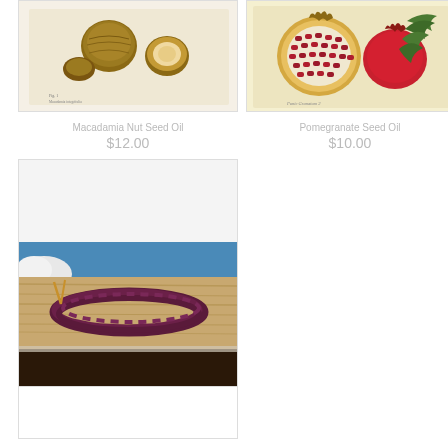[Figure (photo): Botanical illustration of macadamia nut on aged paper background]
[Figure (photo): Botanical illustration of pomegranate cross-section with leaves on aged paper background]
Macadamia Nut Seed Oil
$12.00
Pomegranate Seed Oil
$10.00
[Figure (photo): Photo of dark purple/maroon braided cord or bracelet on a wooden surface with blue background, partially visible]